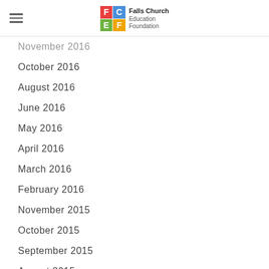Falls Church Education Foundation
November 2016
October 2016
August 2016
June 2016
May 2016
April 2016
March 2016
February 2016
November 2015
October 2015
September 2015
August 2015
July 2015